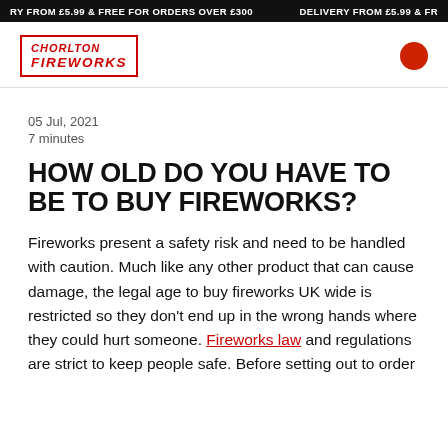RY FROM £5.99 & FREE FOR ORDERS OVER £300    DELIVERY FROM £5.99 & FR
[Figure (logo): Chorlton Fireworks logo in red with rectangular border]
05 Jul, 2021
7 minutes
HOW OLD DO YOU HAVE TO BE TO BUY FIREWORKS?
Fireworks present a safety risk and need to be handled with caution. Much like any other product that can cause damage, the legal age to buy fireworks UK wide is restricted so they don't end up in the wrong hands where they could hurt someone. Fireworks law and regulations are strict to keep people safe. Before setting out to order